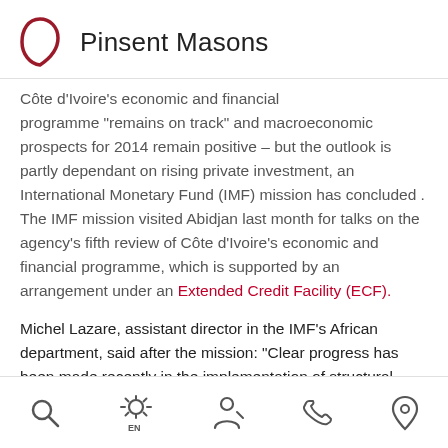Pinsent Masons
Cote d'Ivoire's economic and financial programme “remains on track” and macroeconomic prospects for 2014 remain positive – but the outlook is partly dependant on rising private investment, an International Monetary Fund (IMF) mission has concluded . The IMF mission visited Abidjan last month for talks on the agency’s fifth review of Côte d’Ivoire’s economic and financial programme, which is supported by an arrangement under an Extended Credit Facility (ECF).
Michel Lazare, assistant director in the IMF’s African department, said after the mission: “Clear progress has been made recently in the implementation of structural reforms, especially
Search | Settings EN | Person/Account | Phone | Location